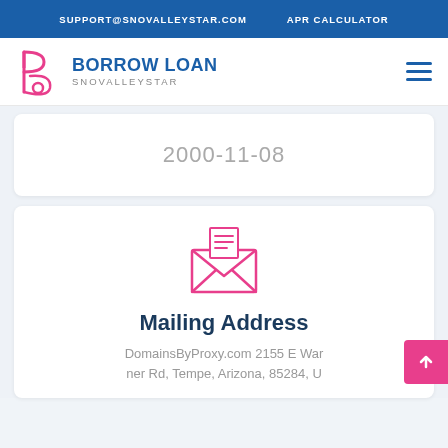SUPPORT@SNOVALLEYSTAR.COM   APR CALCULATOR
[Figure (logo): Borrow Loan Snovalleystar logo with stylized 'b' icon in pink/magenta]
2000-11-08
[Figure (illustration): Pink envelope icon with letter inside]
Mailing Address
DomainsByProxy.com 2155 E Warner Rd, Tempe, Arizona, 85284, U